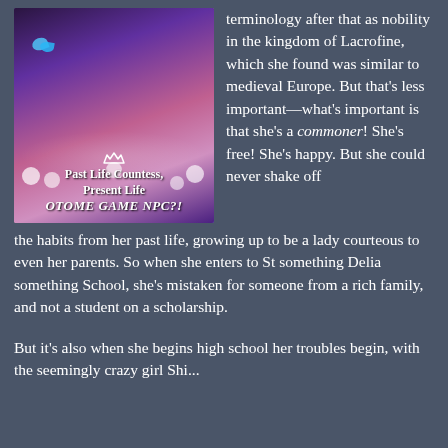[Figure (illustration): Book cover of 'Past Life Countess, Present Life OTOME GAME NPC?!' showing anime-style characters with a purple/pink color scheme and floral decorations]
...terminology after that as nobility in the kingdom of Lacrofine, which she found was similar to medieval Europe. But that's less important—what's important is that she's a commoner! She's free! She's happy. But she could never shake off the habits from her past life, growing up to be a lady courteous to even her parents. So when she enters to St something Delia something School, she's mistaken for someone from a rich family, and not a student on a scholarship.

But it's also when she begins high school her troubles begin, with the seemingly crazy girl Shi...